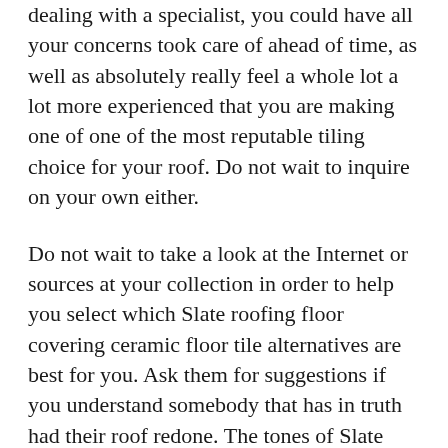dealing with a specialist, you could have all your concerns took care of ahead of time, as well as absolutely really feel a whole lot a lot more experienced that you are making one of one of the most reputable tiling choice for your roof. Do not wait to inquire on your own either.
Do not wait to take a look at the Internet or sources at your collection in order to help you select which Slate roofing floor covering ceramic floor tile alternatives are best for you. Ask them for suggestions if you understand somebody that has in truth had their roof redone. The tones of Slate roofing floor covering ceramic floor tiles differ in addition to they could be thrilling.
The end result along with remodelling that Slate